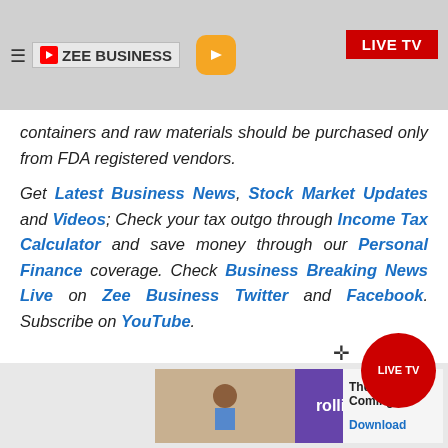ZEE BUSINESS | LIVE TV
containers and raw materials should be purchased only from FDA registered vendors.
Get Latest Business News, Stock Market Updates and Videos; Check your tax outgo through Income Tax Calculator and save money through our Personal Finance coverage. Check Business Breaking News Live on Zee Business Twitter and Facebook. Subscribe on YouTube.
[Figure (screenshot): Ad banner with Rollic app advertisement showing 'They Are Coming!' and Download button]